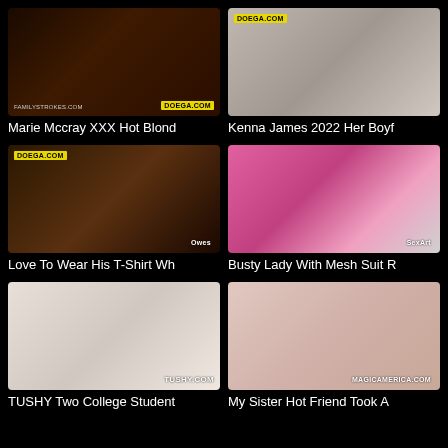[Figure (photo): Thumbnail image with FAMILYSTROKES.COM and DOEGA.COM watermarks]
Marie Mccray XXX Hot Blond
[Figure (photo): Thumbnail image with DOEGA.COM watermark]
Kenna James 2022 Her Boyf
[Figure (photo): Thumbnail image with DOEGA.COM watermark top-left]
Love To Wear His T-Shirt Wh
[Figure (photo): Thumbnail image with watermark]
Busty Lady With Mesh Suit R
[Figure (photo): Thumbnail image with TUSHY.COM watermark]
TUSHY Two College Student
[Figure (photo): Thumbnail image with MAGICAMERICA.COM watermark]
My Sister Hot Friend Took A